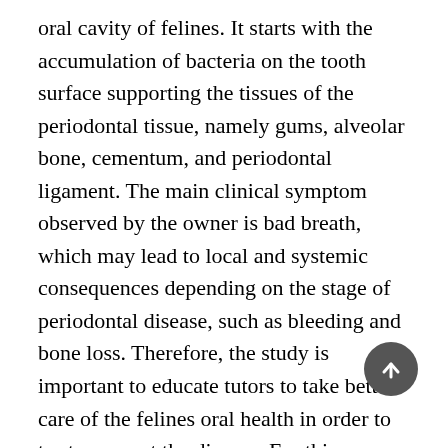oral cavity of felines. It starts with the accumulation of bacteria on the tooth surface supporting the tissues of the periodontal tissue, namely gums, alveolar bone, cementum, and periodontal ligament. The main clinical symptom observed by the owner is bad breath, which may lead to local and systemic consequences depending on the stage of periodontal disease, such as bleeding and bone loss. Therefore, the study is important to educate tutors to take better care of the felines oral health in order to try to prevent the disease. For this epidemiological study, the target population has been felines, located on the outskirts of Manaus, in the state of Amazonas, with a geographic area of 155.68 km², with no defined breed, from October 1st to 10th, 2021, whose samples has been randomly selected, with a detailed profile. The variables of interest for this study have been: absence or presence of periodontal disease, gender, age